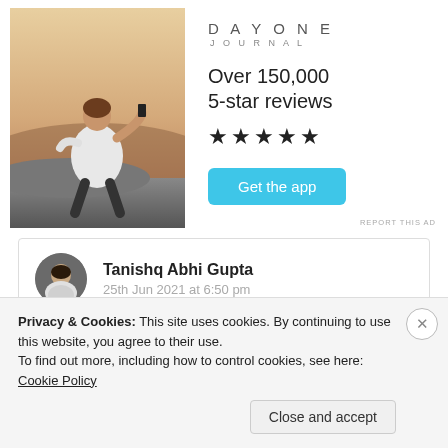[Figure (photo): Young man sitting on rocks with back to camera, holding a phone, sunset background]
DAY ONE
JOURNAL
Over 150,000
5-star reviews
★★★★★
Get the app
REPORT THIS AD
[Figure (photo): User avatar portrait of Tanishq Abhi Gupta]
Tanishq Abhi Gupta
25th Jun 2021 at 6:50 pm
Privacy & Cookies: This site uses cookies. By continuing to use this website, you agree to their use.
To find out more, including how to control cookies, see here: Cookie Policy
Close and accept